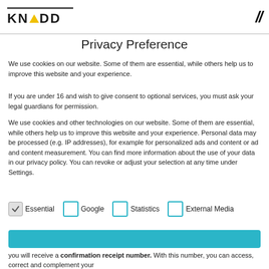KNADD
Privacy Preference
We use cookies on our website. Some of them are essential, while others help us to improve this website and your experience.
If you are under 16 and wish to give consent to optional services, you must ask your legal guardians for permission.
We use cookies and other technologies on our website. Some of them are essential, while others help us to improve this website and your experience. Personal data may be processed (e.g. IP addresses), for example for personalized ads and content or ad and content measurement. You can find more information about the use of your data in our privacy policy. You can revoke or adjust your selection at any time under Settings.
Essential  Google  Statistics  External Media
you will receive a confirmation receipt number. With this number, you can access, correct and complement your